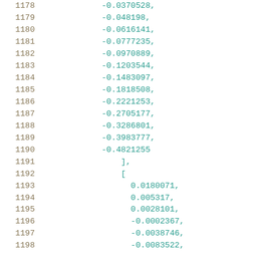1178    -0.0370528,
1179    -0.048198,
1180    -0.0616141,
1181    -0.0777235,
1182    -0.0970889,
1183    -0.1203544,
1184    -0.1483097,
1185    -0.1818508,
1186    -0.2221253,
1187    -0.2705177,
1188    -0.3286801,
1189    -0.3983777,
1190    -0.4821255
1191    ],
1192    [
1193      0.0180071,
1194      0.005317,
1195      0.0028101,
1196      -0.0002367,
1197      -0.0038746,
1198      -0.0083522,